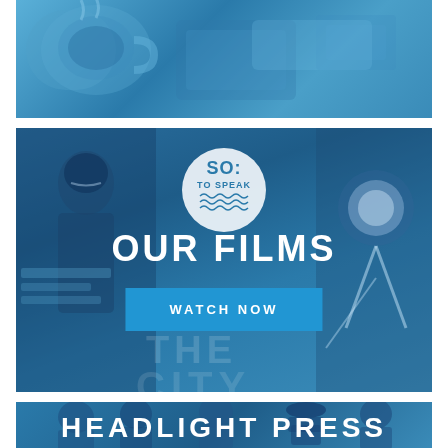[Figure (photo): Blue-tinted photo of coffee cup and tablet/notebook on a desk, top banner image]
[Figure (photo): Blue-tinted collage photo with a person speaking at a podium, 'SO: TO SPEAK' circular logo overlay, stage lighting equipment on right, partial text 'IN THE CITY' visible in background. Center text reads 'OUR FILMS' with a 'WATCH NOW' button below.]
OUR FILMS
WATCH NOW
[Figure (photo): Blue-tinted photo of a group of people sitting together, with text 'HEADLIGHT PRESS' overlaid at the bottom]